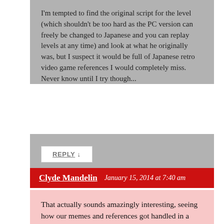I'm tempted to find the original script for the level (which shouldn't be too hard as the PC version can freely be changed to Japanese and you can replay levels at any time) and look at what he originally was, but I suspect it would be full of Japanese retro video game references I would completely miss. Never know until I try though...
REPLY ↓
Clyde Mandelin  January 15, 2014 at 7:40 am
That actually sounds amazingly interesting, seeing how our memes and references got handled in a localization into Japanese. I'm not very familiar with the game, though, even though I've always wanted to get into it.
REPLY ↓